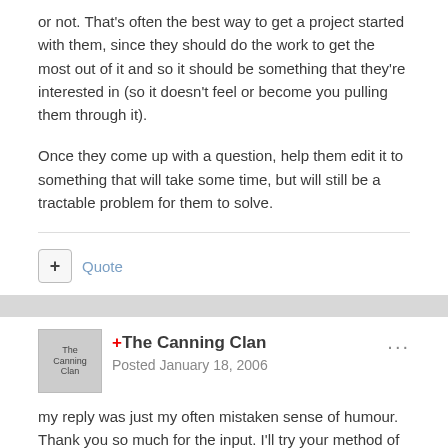or not. That's often the best way to get a project started with them, since they should do the work to get the most out of it and so it should be something that they're interested in (so it doesn't feel or become you pulling them through it).
Once they come up with a question, help them edit it to something that will take some time, but will still be a tractable problem for them to solve.
+ Quote
+The Canning Clan
Posted January 18, 2006
my reply was just my often mistaken sense of humour. Thank you so much for the input. I'll try your method of coming up with a question to answer. I am afraid of too much involvement by me. Kid friendly info is very hard to come by.
we are now thinking of maybe doing the whole rock tumbler vs mother nature thing but GPS is not ruled out quite yet.